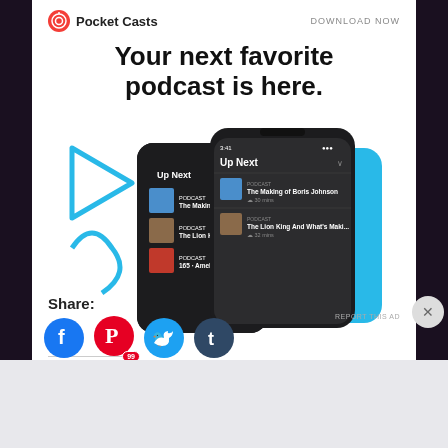[Figure (screenshot): Pocket Casts advertisement with logo, headline, and phone mockups showing the app UI with 'Up Next' podcast queue]
REPORT THIS AD
Share:
[Figure (infographic): Social share buttons: Facebook, Pinterest (99), Twitter, Tumblr]
Advertisements
[Figure (screenshot): WordPress.com advertisement banner with Start Today button]